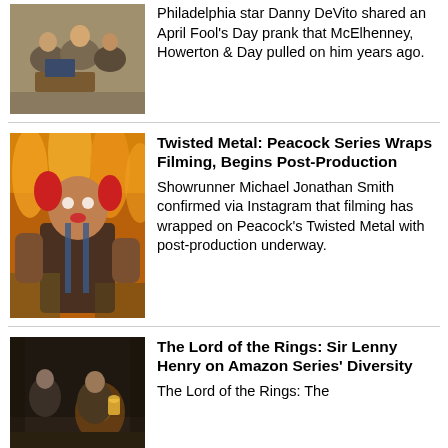[Figure (photo): People sitting together in a room, partially visible at top]
Philadelphia star Danny DeVito shared an April Fool's Day prank that McElhenney, Howerton & Day pulled on him years ago.
[Figure (illustration): Twisted Metal game art showing a clown character with fire in background]
Twisted Metal: Peacock Series Wraps Filming, Begins Post-Production
Showrunner Michael Jonathan Smith confirmed via Instagram that filming has wrapped on Peacock's Twisted Metal with post-production underway.
[Figure (photo): Dark scene with characters, appears to be from a fantasy or adventure setting]
The Lord of the Rings: Sir Lenny Henry on Amazon Series' Diversity
The Lord of the Rings: The